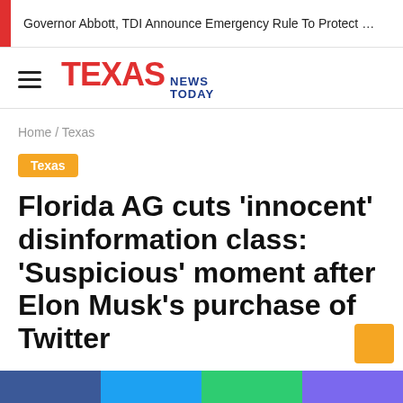Governor Abbott, TDI Announce Emergency Rule To Protect …
[Figure (logo): Texas News Today logo with hamburger menu icon]
Home / Texas
Texas
Florida AG cuts 'innocent' disinformation class: 'Suspicious' moment after Elon Musk's purchase of Twitter